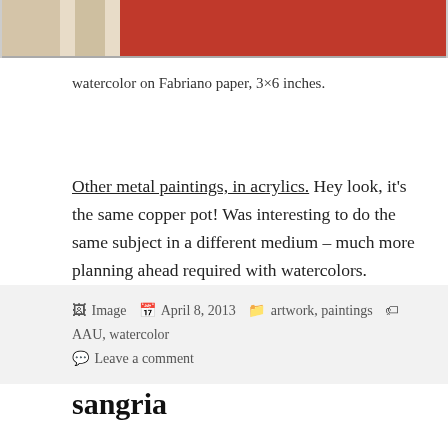[Figure (photo): Partial view of a painting showing red and beige/cream colors on Fabriano paper, cropped at top of page.]
watercolor on Fabriano paper, 3×6 inches.
Other metal paintings, in acrylics. Hey look, it's the same copper pot! Was interesting to do the same subject in a different medium – much more planning ahead required with watercolors.
Image   April 8, 2013   artwork, paintings   AAU, watercolor   Leave a comment
sangria